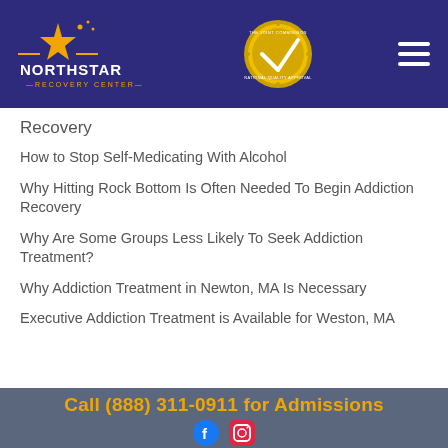[Figure (logo): NorthStar Recovery Center logo with star and Joint Commission gold seal, and hamburger menu icon on dark blue header background]
Recovery
How to Stop Self-Medicating With Alcohol
Why Hitting Rock Bottom Is Often Needed To Begin Addiction Recovery
Why Are Some Groups Less Likely To Seek Addiction Treatment?
Why Addiction Treatment in Newton, MA Is Necessary
Executive Addiction Treatment is Available for Weston, MA
Call (888) 311-0911 for Admissions